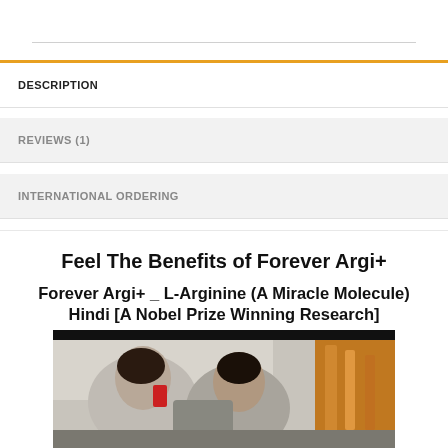DESCRIPTION
REVIEWS (1)
INTERNATIONAL ORDERING
Feel The Benefits of Forever Argi+
Forever Argi+ _ L-Arginine (A Miracle Molecule) Hindi [A Nobel Prize Winning Research]
[Figure (photo): Two scientists (a woman and a man) looking into microscopes in a laboratory setting, with lab equipment visible on the right.]